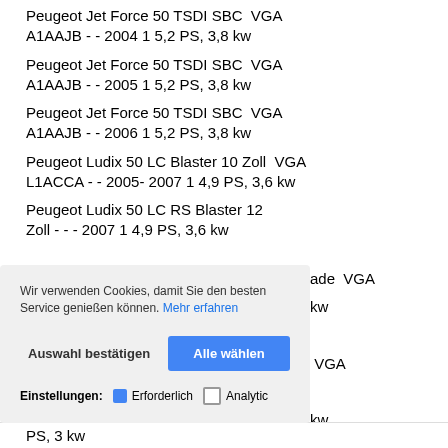Peugeot Jet Force 50 TSDI SBC  VGA A1AAJB - - 2004 1 5,2 PS, 3,8 kw
Peugeot Jet Force 50 TSDI SBC  VGA A1AAJB - - 2005 1 5,2 PS, 3,8 kw
Peugeot Jet Force 50 TSDI SBC  VGA A1AAJB - - 2006 1 5,2 PS, 3,8 kw
Peugeot Ludix 50 LC Blaster 10 Zoll  VGA L1ACCA - - 2005- 2007 1 4,9 PS, 3,6 kw
Peugeot Ludix 50 LC RS Blaster 12 Zoll - - - 2007 1 4,9 PS, 3,6 kw
Wir verwenden Cookies, damit Sie den besten Service genießen können. Mehr erfahren
Auswahl bestätigen   Alle wählen
Einstellungen:  Erforderlich  Analytics
...ade  VGA ... kw
VGA ... kw
VGA ... kw
2010- 2011 1 4 PS, 3 kw